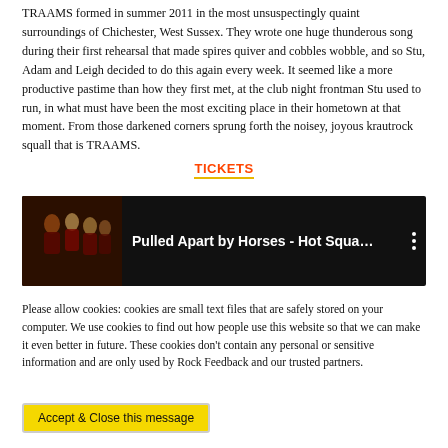TRAAMS formed in summer 2011 in the most unsuspectingly quaint surroundings of Chichester, West Sussex. They wrote one huge thunderous song during their first rehearsal that made spires quiver and cobbles wobble, and so Stu, Adam and Leigh decided to do this again every week. It seemed like a more productive pastime than how they first met, at the club night frontman Stu used to run, in what must have been the most exciting place in their hometown at that moment. From those darkened corners sprung forth the noisey, joyous krautrock squall that is TRAAMS.
TICKETS
[Figure (screenshot): YouTube video embed showing 'Pulled Apart by Horses - Hot Squa...' with a dark thumbnail showing band members on left and three-dot menu icon on right]
Please allow cookies: cookies are small text files that are safely stored on your computer. We use cookies to find out how people use this website so that we can make it even better in future. These cookies don't contain any personal or sensitive information and are only used by Rock Feedback and our trusted partners.
Accept & Close this message